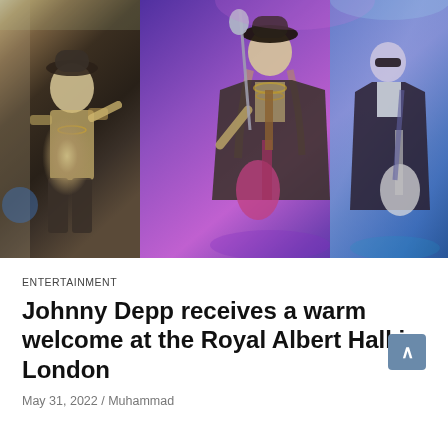[Figure (photo): Two concert/event photos side by side: left photo shows a performer in casual clothes with accessories pointing at the camera; right photo shows two musicians on stage under purple stage lighting, one playing guitar near a microphone, another playing guitar on the right.]
ENTERTAINMENT
Johnny Depp receives a warm welcome at the Royal Albert Hall in London
May 31, 2022 / Muhammad